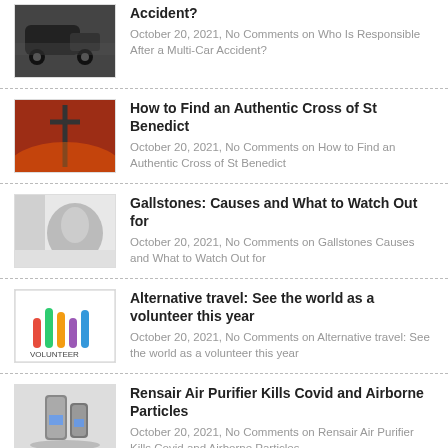Accident?
October 20, 2021, No Comments on Who Is Responsible After a Multi-Car Accident?
How to Find an Authentic Cross of St Benedict
October 20, 2021, No Comments on How to Find an Authentic Cross of St Benedict
Gallstones: Causes and What to Watch Out for
October 20, 2021, No Comments on Gallstones Causes and What to Watch Out for
Alternative travel: See the world as a volunteer this year
October 20, 2021, No Comments on Alternative travel: See the world as a volunteer this year
Rensair Air Purifier Kills Covid and Airborne Particles
October 20, 2021, No Comments on Rensair Air Purifier Kills Covid and Airborne Particles
The Benefits Of Becoming A Commercial Airline Pilot